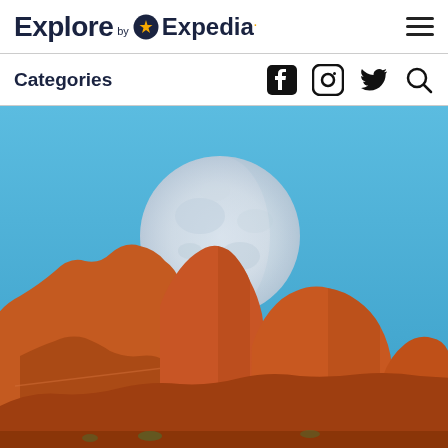Explore by Expedia
Categories
[Figure (photo): Red rock formations (Sedona-style buttes) under a bright blue sky with a large nearly-full moon visible above the rocks]